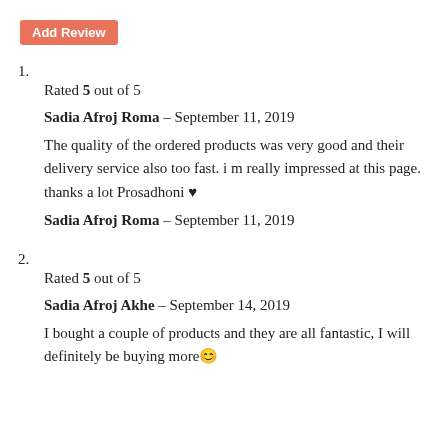Add Review
1.
Rated 5 out of 5
Sadia Afroj Roma – September 11, 2019
The quality of the ordered products was very good and their delivery service also too fast. i m really impressed at this page. thanks a lot Prosadhoni ♥
Sadia Afroj Roma – September 11, 2019
2.
Rated 5 out of 5
Sadia Afroj Akhe – September 14, 2019
I bought a couple of products and they are all fantastic, I will definitely be buying more😊